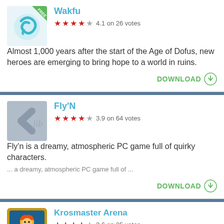[Figure (screenshot): Wakfu game icon with teal/green swirl on white background with FREE banner]
Wakfu
4.1 on 26 votes
Almost 1,000 years after the start of the Age of Dofus, new heroes are emerging to bring hope to a world in ruins.
DOWNLOAD
[Figure (screenshot): Fly'N game icon - grey/silver placeholder with lib text]
Fly'N
3.9 on 64 votes
Fly'n is a dreamy, atmospheric PC game full of quirky characters.
... a dreamy, atmospheric PC game full of ...
DOWNLOAD
[Figure (screenshot): Krosmaster Arena game icon with golden border and character artwork]
Krosmaster Arena
3.6 on 25 votes